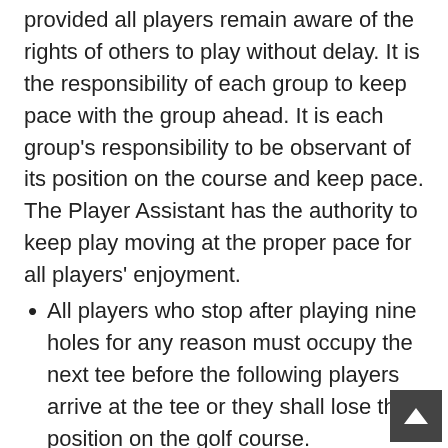This amount of time is more than adequate, provided all players remain aware of the rights of others to play without delay. It is the responsibility of each group to keep pace with the group ahead. It is each group's responsibility to be observant of its position on the course and keep pace. The Player Assistant has the authority to keep play moving at the proper pace for all players' enjoyment.
All players who stop after playing nine holes for any reason must occupy the next tee before the following players arrive at the tee or they shall lose their position on the golf course.
Members who are unable to play in a reasonable amount of time may be required to tee off during designated times of the day